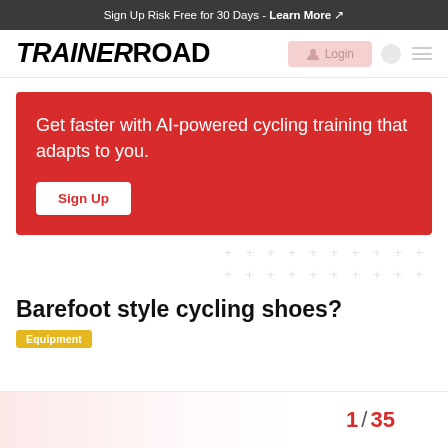Sign Up Risk Free for 30 Days - Learn More
[Figure (logo): TrainerRoad logo with Login button and navigation icons]
Get faster with AI-powered cycling training that adapts to you.
Sign Up
Barefoot style cycling shoes?
Equipment
1 / 35